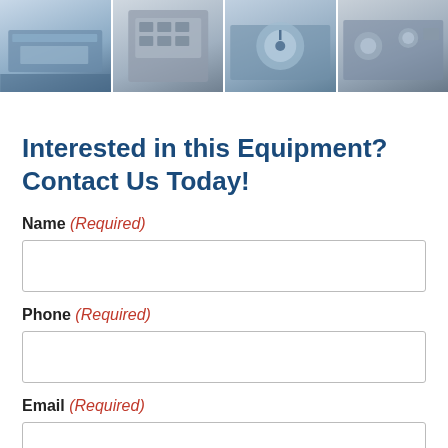[Figure (photo): Four photos of laboratory/testing equipment arranged in a horizontal strip at the top of the page]
Interested in this Equipment? Contact Us Today!
Name (Required)
Phone (Required)
Email (Required)